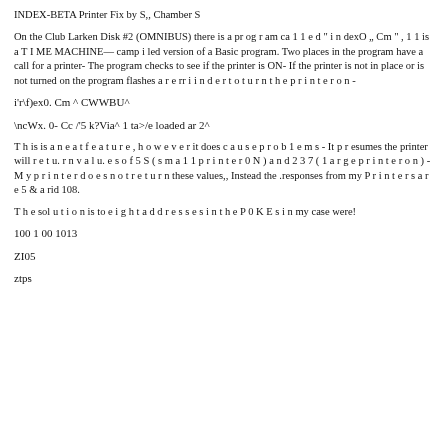INDEX-BETA Printer Fix by S,, Chamber S
On the Club Larken Disk #2 (OMNIBUS) there is a pr og r am ca 1 1 e d " i n dexO „ Cm " , 1 1 is a T I ME MACHINE— camp i led version of a Basic program. Two places in the program have a call for a printer- The program checks to see if the printer is ON- If the printer is not in place or is not turned on the program flashes a r e rr i i n d e r t o t u r n t h e p r i n t e r o n -
i'r\f)ex0. Cm ^ CWWBU^
\ncWx. 0- Cc /'5 k?Via^ 1 ta>/e loaded ar 2^
T h is is a n e a t f e a t u r e , h o w e v e r it does c a u s e p r o b 1 e m s - It p r esumes the printer will r e t u. r n v a l u. e s o f 5 S ( s m a 1 1 p r i n t e r 0 N ) a n d 2 3 7 ( 1 a r g e p r i n t e r o n ) - M y p r i n t e r d o e s n o t r e t u r n these values,, Instead the .responses from my P r i n t e r s a r e 5 & a rid 108.
T h e sol u t i o n is to e i g h t a d d r e s s e s i n t h e P 0 K E s i n my case were!
100 1 00 1013
ZI05
ztps